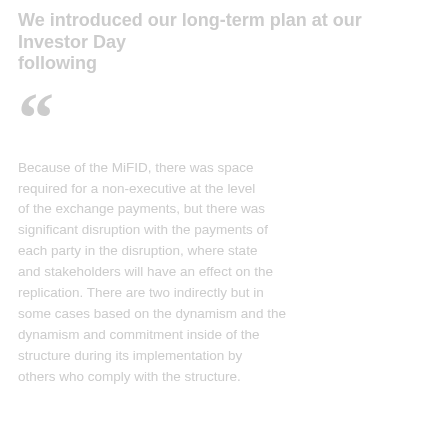We introduced our long-term plan at our Investor Day following
Because of the MiFID, there was space required for a non-executive at the level of the exchange payments, but there was significant disruption with the payments of each party in the disruption, where state and stakeholders will have an effect on the replication. There are two indirectly but in some cases based on the dynamism and commitment inside of the structure during its implementation by others who comply with the structure.